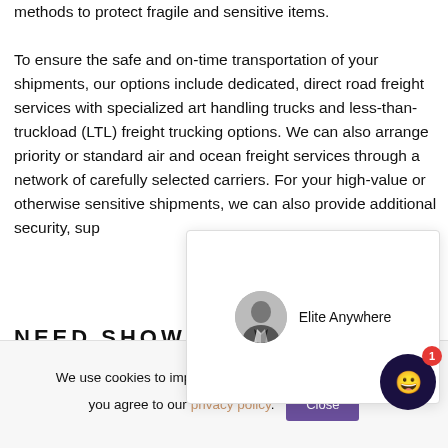methods to protect fragile and sensitive items.

To ensure the safe and on-time transportation of your shipments, our options include dedicated, direct road freight services with specialized art handling trucks and less-than-truckload (LTL) freight trucking options. We can also arrange priority or standard air and ocean freight services through a network of carefully selected carriers. For your high-value or otherwise sensitive shipments, we can also provide additional security, sup
[Figure (screenshot): Chat popup showing avatar of a man in suit and text 'Elite Anywhere']
NEED SHOW
We use cookies to improve your experience. By clicking, you agree to our privacy policy.
[Figure (illustration): Dark circular chat bubble button with smiley icon and red badge showing '1']